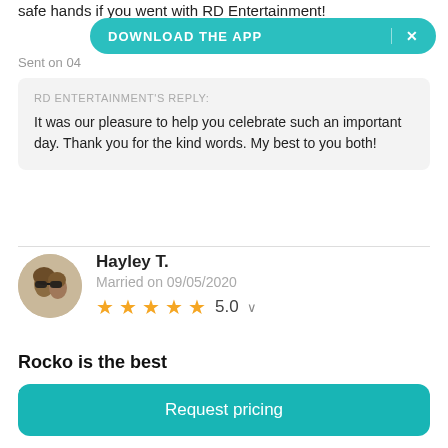safe hands if you went with RD Entertainment!
DOWNLOAD THE APP  ×
Sent on 04
RD ENTERTAINMENT'S REPLY:
It was our pleasure to help you celebrate such an important day. Thank you for the kind words. My best to you both!
Hayley T.
Married on 09/05/2020
5.0
Rocko is the best
Rocko provided the absolute best DJ service I have ever
Request pricing